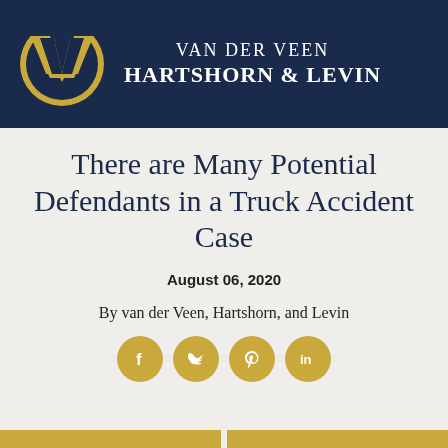[Figure (logo): Van der Veen Hartshorn & Levin law firm logo: golden circle with a V shape inside, white firm name text on dark navy background header]
There are Many Potential Defendants in a Truck Accident Case
August 06, 2020
By van der Veen, Hartshorn, and Levin
[Figure (illustration): Social media share icons: Facebook, Twitter, Pinterest, LinkedIn — golden circles with white icons]